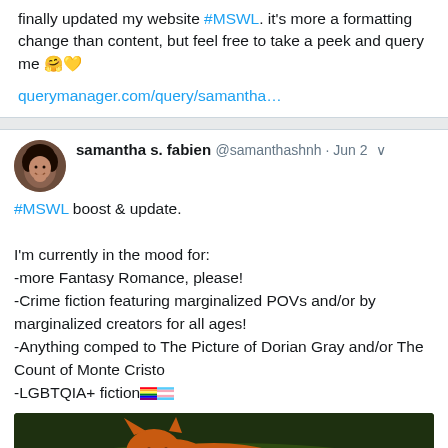finally updated my website #MSWL. it's more a formatting change than content, but feel free to take a peek and query me 🤗💛
querymanager.com/query/samantha…
[Figure (other): Horizontal divider stripe]
[Figure (photo): Avatar photo of samantha s. fabien, a woman with curly hair smiling]
samantha s. fabien @samanthashnh · Jun 2
#MSWL boost & update.

I'm currently in the mood for:
-more Fantasy Romance, please!
-Crime fiction featuring marginalized POVs and/or by marginalized creators for all ages!
-Anything comped to The Picture of Dorian Gray and/or The Count of Monte Cristo
-LGBTQIA+ fiction🏳️‍🌈🏳️‍⚧️
[Figure (photo): Photo of an orange/red cat or fox-like animal lying in green grass]